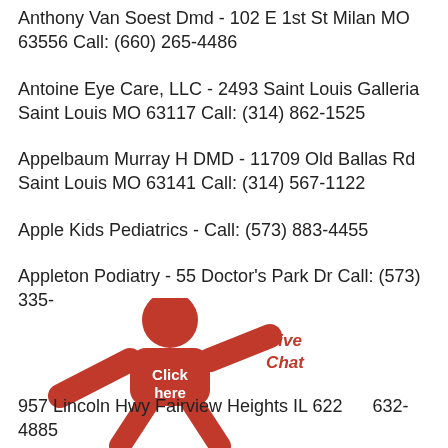Anthony Van Soest Dmd - 102 E 1st St Milan MO 63556 Call: (660) 265-4486
Antoine Eye Care, LLC - 2493 Saint Louis Galleria Saint Louis MO 63117 Call: (314) 862-1525
Appelbaum Murray H DMD - 11709 Old Ballas Rd Saint Louis MO 63141 Call: (314) 567-1122
Apple Kids Pediatrics - Call: (573) 883-4455
Appleton Podiatry - 55 Doctor's Park Dr Call: (573) 335-[obscured]
[Figure (illustration): Red cartoon figure with 'Click here' text and 'Live Chat' label overlay in red handwritten style font]
957 Lincoln Hwy Fairview Heights IL 622[obscured] 632-4885